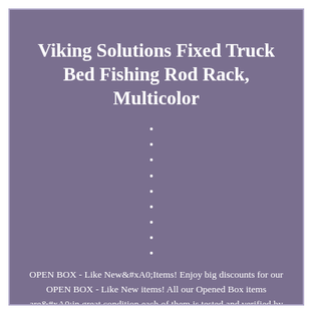Viking Solutions Fixed Truck Bed Fishing Rod Rack, Multicolor
OPEN BOX - Like New&#xA0;Items! Enjoy big discounts for our OPEN BOX - Like New items! All our Opened Box items are&#xA0;in great condition each of them is tested and verified by professional logistic&#xA0;teams, in most cases you'll hardly notice the difference between our opened box items to equivalent new items, sometimes the product box do not meets brand new items standard, but besides that you will own a great product and in a competitive price.
Viking Solutions Fixed Truck Bed Fishing Rod Rack, Multicolor. The